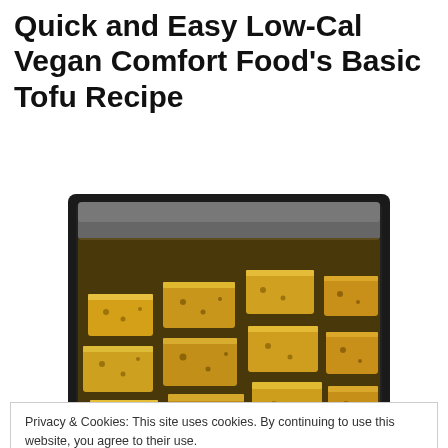Quick and Easy Low-Cal Vegan Comfort Food's Basic Tofu Recipe
[Figure (photo): Baking dish filled with cubed marinated tofu pieces, golden yellow in color with dark speckles, arranged in a dark roasting pan.]
Privacy & Cookies: This site uses cookies. By continuing to use this website, you agree to their use.
To find out more, including how to control cookies, see here: Cookie Policy
Close and accept
too surprising, since life has been kind of crazy and